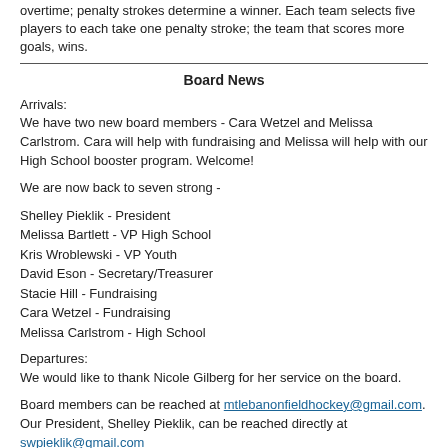overtime; penalty strokes determine a winner. Each team selects five players to each take one penalty stroke; the team that scores more goals, wins.
Board News
Arrivals:
We have two new board members - Cara Wetzel and Melissa Carlstrom. Cara will help with fundraising and Melissa will help with our High School booster program. Welcome!
We are now back to seven strong -
Shelley Pieklik - President
Melissa Bartlett - VP High School
Kris Wroblewski - VP Youth
David Eson - Secretary/Treasurer
Stacie Hill - Fundraising
Cara Wetzel - Fundraising
Melissa Carlstrom - High School
Departures:
We would like to thank Nicole Gilberg for her service on the board.
Board members can be reached at mtlebanonfieldhockey@gmail.com. Our President, Shelley Pieklik, can be reached directly at swpieklik@gmail.com